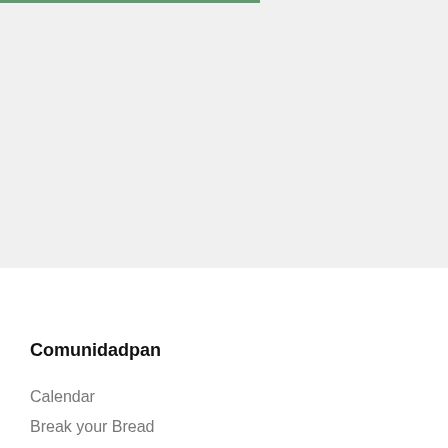[Figure (other): Large light gray rectangular area with a thin green bar at the top left edge, representing a map or image placeholder in a web app interface]
Comunidadpan
Calendar
Break your Bread